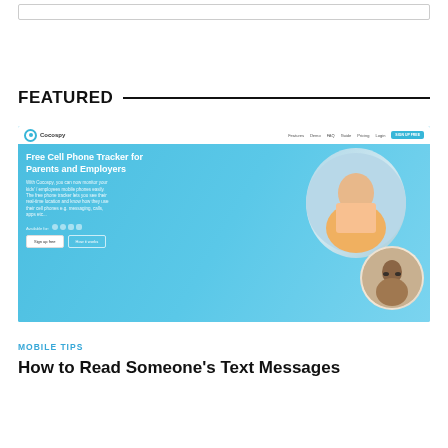[Figure (screenshot): Search bar at the top of the page]
FEATURED
[Figure (screenshot): Screenshot of Cocospy website - Free Cell Phone Tracker for Parents and Employers. Shows navigation bar with logo, menu links (Features, Demo, FAQ, Guide, Pricing, Login) and SIGN UP FREE button. Hero section with blue background showing text about monitoring kids/employees mobile phones with real-time location tracking. Two circular images of people. Sign up free and How it works buttons.]
MOBILE TIPS
How to Read Someone's Text Messages